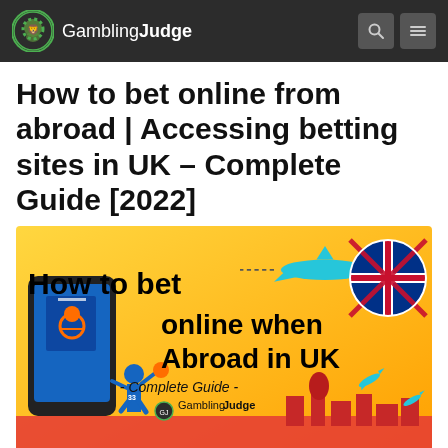Gambling Judge
How to bet online from abroad | Accessing betting sites in UK – Complete Guide [2022]
[Figure (infographic): Infographic with yellow/orange background showing 'How to bet online when Abroad in UK - Complete Guide -' with Gambling Judge logo, a basketball player, a smartphone, an airplane, UK flag, and small travel icons]